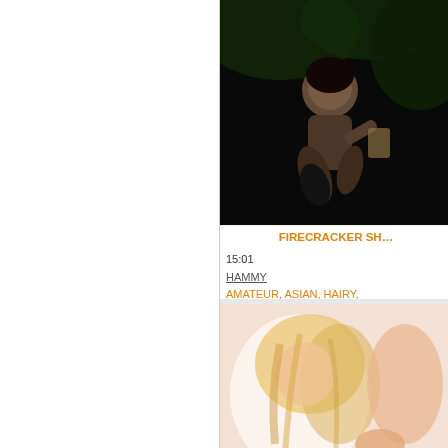[Figure (photo): Dark-toned video thumbnail showing a woman in an outdoor/nighttime setting]
FIRECRACKER SH...
15:01
HAMMY
AMATEUR, ASIAN, HAIRY,
[Figure (photo): Blurred/bright video thumbnail showing a blonde woman]
FRECKLED R...
3:41